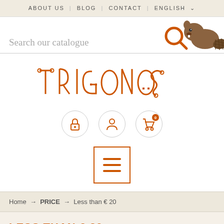ABOUT US | BLOG | CONTACT | ENGLISH
Search our catalogue
[Figure (illustration): Beaver mascot with magnifying glass icon, brown illustrated animal with search icon]
[Figure (logo): TRIGONOS logo in decorative orange lettering with geometric connector elements]
[Figure (infographic): Three circular icon buttons: padlock (login), person (account), shopping cart with badge showing 0]
[Figure (infographic): Orange bordered square menu button with three horizontal lines (hamburger menu)]
Home → PRICE → Less than € 20
LESS THAN € 20